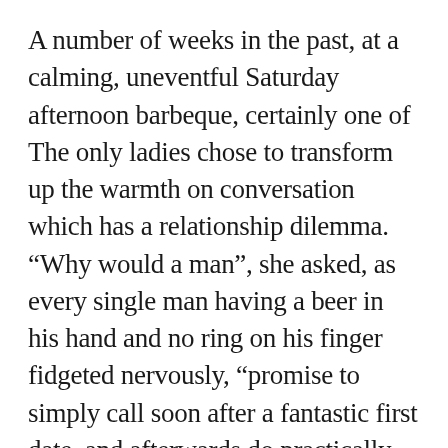A number of weeks in the past, at a calming, uneventful Saturday afternoon barbeque, certainly one of The only ladies chose to transform up the warmth on conversation which has a relationship dilemma. “Why would a man”, she asked, as every single man having a beer in his hand and no ring on his finger fidgeted nervously, “promise to simply call soon after a fantastic first date, and afterwards do practically nothing but send flirtatious SMS messages for the subsequent two months?”
A couple of rapid thinking cads built haste in direction of the barbeque to compliment